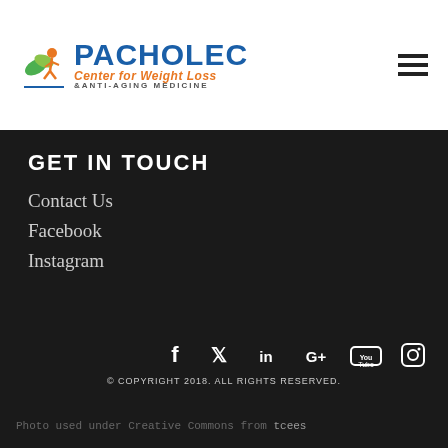[Figure (logo): Pacholec Center for Weight Loss & Anti-Aging Medicine logo with stylized figure icon]
GET IN TOUCH
Contact Us
Facebook
Instagram
[Figure (infographic): Social media icons: Facebook, Twitter, LinkedIn, Google+, YouTube, Instagram]
© COPYRIGHT 2018. ALL RIGHTS RESERVED.
Photo used under Creative Commons from tcees